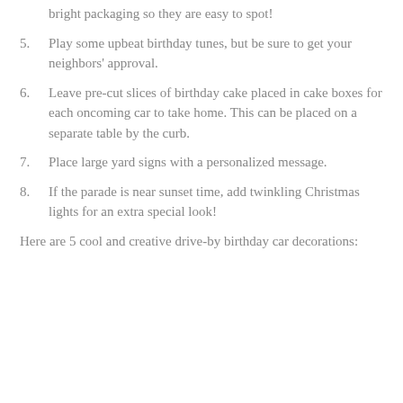bright packaging so they are easy to spot!
5. Play some upbeat birthday tunes, but be sure to get your neighbors' approval.
6. Leave pre-cut slices of birthday cake placed in cake boxes for each oncoming car to take home. This can be placed on a separate table by the curb.
7. Place large yard signs with a personalized message.
8. If the parade is near sunset time, add twinkling Christmas lights for an extra special look!
Here are 5 cool and creative drive-by birthday car decorations: